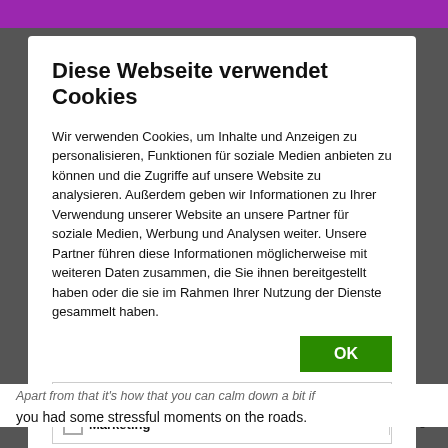Diese Webseite verwendet Cookies
Wir verwenden Cookies, um Inhalte und Anzeigen zu personalisieren, Funktionen für soziale Medien anbieten zu können und die Zugriffe auf unsere Website zu analysieren. Außerdem geben wir Informationen zu Ihrer Verwendung unserer Website an unsere Partner für soziale Medien, Werbung und Analysen weiter. Unsere Partner führen diese Informationen möglicherweise mit weiteren Daten zusammen, die Sie ihnen bereitgestellt haben oder die sie im Rahmen Ihrer Nutzung der Dienste gesammelt haben.
OK
Notwendig  Präferenzen  Statistiken  Marketing  Details zeigen
Apart from that it's how that you can calm down a bit if you had some stressful moments on the roads.